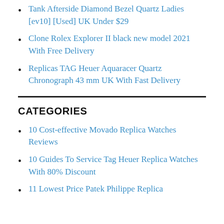Tank Afterside Diamond Bezel Quartz Ladies [ev10] [Used] UK Under $29
Clone Rolex Explorer II black new model 2021 With Free Delivery
Replicas TAG Heuer Aquaracer Quartz Chronograph 43 mm UK With Fast Delivery
CATEGORIES
10 Cost-effective Movado Replica Watches Reviews
10 Guides To Service Tag Heuer Replica Watches With 80% Discount
11 Lowest Price Patek Philippe Replica